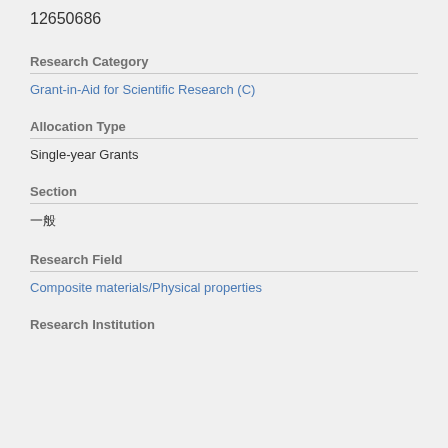12650686
Research Category
Grant-in-Aid for Scientific Research (C)
Allocation Type
Single-year Grants
Section
一般
Research Field
Composite materials/Physical properties
Research Institution